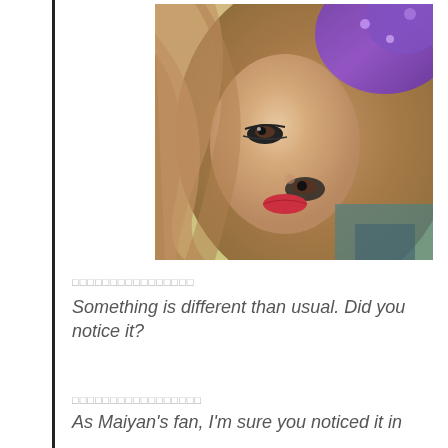[Figure (photo): Close-up selfie of a young woman with long brown hair, heavy eye makeup, red lips, and a purple sparkly accessory/top. The photo is taken at an angle, lying down style.]
□□□□□□□□□□□□□□□□
Something is different than usual. Did you notice it?
□□□□□□□□□□□□□□□□□
As Maiyan's fan, I'm sure you noticed it in